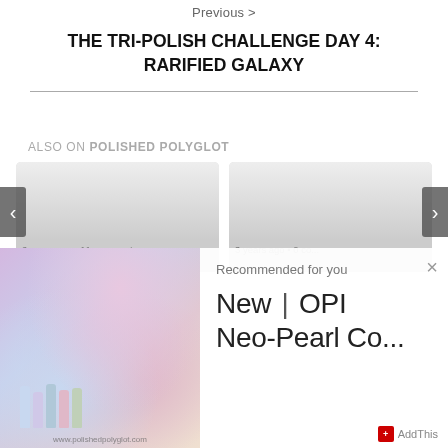Previous >
THE TRI-POLISH CHALLENGE DAY 4: RARIFIED GALAXY
ALSO ON POLISHED POLYGLOT
[Figure (screenshot): Two card thumbnails showing blog post previews with gray placeholder images, navigation arrows on sides, and text showing comments counts]
[Figure (advertisement): Recommended for you overlay showing nail polish bottles image on left and text 'New | OPI Neo-Pearl Co...' on right with AddThis branding and close button]